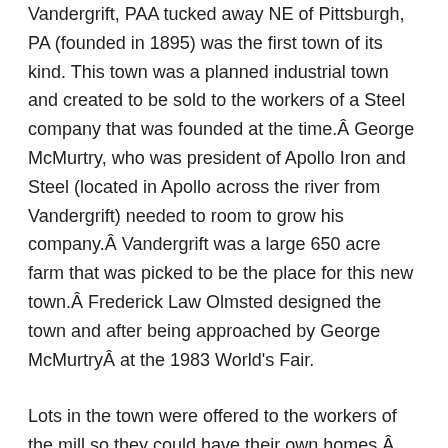Vandergrift, PAA tucked away NE of Pittsburgh, PA (founded in 1895) was the first town of its kind. This town was a planned industrial town and created to be sold to the workers of a Steel company that was founded at the time.Â George McMurtry, who was president of Apollo Iron and Steel (located in Apollo across the river from Vandergrift) needed to room to grow his company.Â Vandergrift was a large 650 acre farm that was picked to be the place for this new town.Â Frederick Law Olmsted designed the town and after being approached by George McMurtryÂ at the 1983 World's Fair.
Lots in the town were offered to the workers of the mill so they could have their own homes.Â The town was built with paved streets and sidewalks.Â The homes included water, natural gas, electric and sewer lines.Â The town was actually built in advance and control turned over to the workers.Â At this time in history, this was a unique idea in